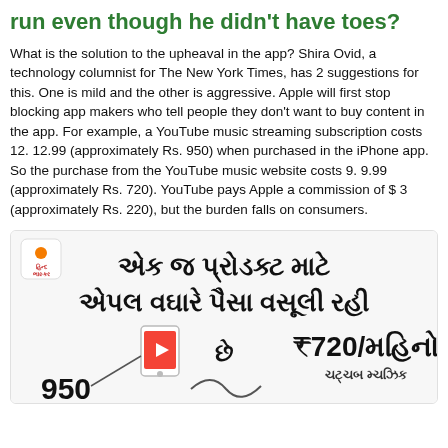run even though he didn't have toes?
What is the solution to the upheaval in the app? Shira Ovid, a technology columnist for The New York Times, has 2 suggestions for this. One is mild and the other is aggressive. Apple will first stop blocking app makers who tell people they don't want to buy content in the app. For example, a YouTube music streaming subscription costs 12. 12.99 (approximately Rs. 950) when purchased in the iPhone app. So the purchase from the YouTube music website costs 9. 9.99 (approximately Rs. 720). YouTube pays Apple a commission of $3 (approximately Rs. 220), but the burden falls on consumers.
[Figure (infographic): Gujarati language infographic showing Apple charging more for the same product. Shows logo of Divya Bhaskar, headline in Gujarati: 'એક જ પ્રોડક્ટ માટે એપલ વઘારે પૈસા વસૂલી રહી છે', with ₹720/month on right and ₹950 on left bottom, and 'YouTube Music' label.]